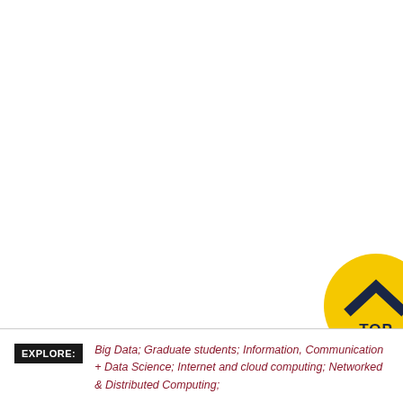[Figure (other): Yellow circular button with dark navy chevron/caret pointing upward and text 'TOP' below it, partially cut off at the right edge of the page]
EXPLORE: Big Data; Graduate students; Information, Communication + Data Science; Internet and cloud computing; Networked & Distributed Computing;